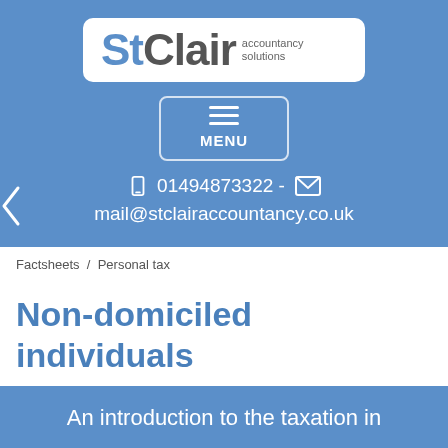[Figure (logo): St Clair Accountancy Solutions logo — 'St' in blue, 'Clair' in dark grey, 'accountancy solutions' in small grey text to the right, all on white rounded rectangle background]
[Figure (other): MENU button with three horizontal lines hamburger icon, white border, rounded rectangle]
01494873322 - mail@stclairaccountancy.co.uk
Factsheets  /  Personal tax
Non-domiciled individuals
An introduction to the taxation in